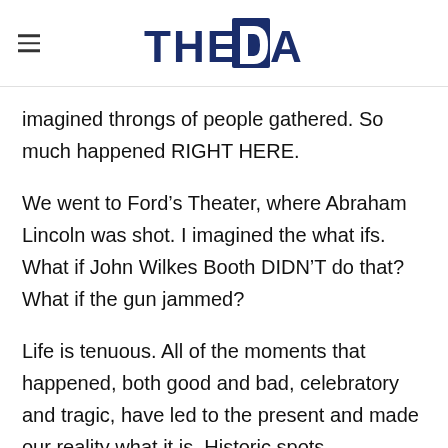THE DAD
imagined throngs of people gathered. So much happened RIGHT HERE.
We went to Ford’s Theater, where Abraham Lincoln was shot. I imagined the what ifs. What if John Wilkes Booth DIDN’T do that? What if the gun jammed?
Life is tenuous. All of the moments that happened, both good and bad, celebratory and tragic, have led to the present and made our reality what it is. Historic spots, monuments, museums… they are documentation of the most important moments that got us here. They’re the